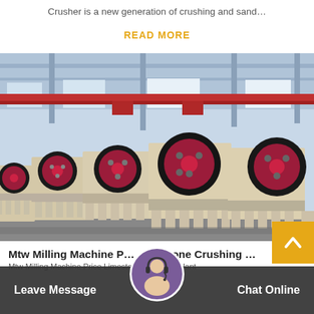Crusher is a new generation of crushing and sand…
READ MORE
[Figure (photo): Row of large industrial jaw crusher machines lined up in a factory warehouse with red flywheels and cream-colored bodies.]
Mtw Milling Machine Price Limestone Crushing ...
Mtw Milling Machine Price Limestone Crushing Plant